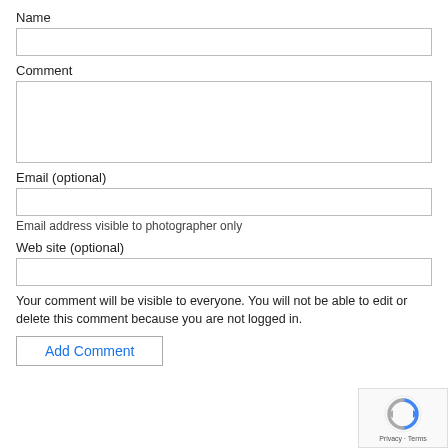Name
Comment
Email (optional)
Email address visible to photographer only
Web site (optional)
Your comment will be visible to everyone. You will not be able to edit or delete this comment because you are not logged in.
Add Comment
[Figure (logo): reCAPTCHA logo with Privacy and Terms links]